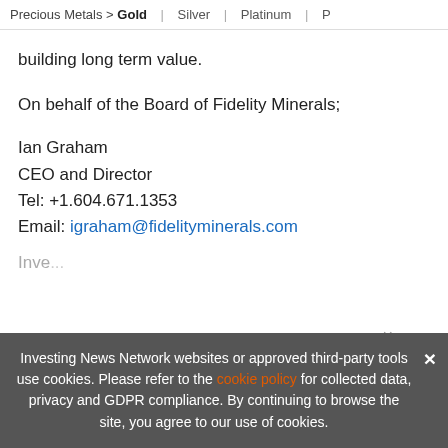Precious Metals > Gold | Silver | Platinum | ...
building long term value.
On behalf of the Board of Fidelity Minerals;
Ian Graham
CEO and Director
Tel: +1.604.671.1353
Email: igraham@fidelityminerals.com
Inve...
[Figure (infographic): Advertisement banner: EXCLUSIVE 2022 SILVER OUTLOOK REPORT. TRENDS. FORECASTS. TOP STOCKS. with silver image and orange arrow button and orange vertical bar. Close (x) button visible.]
Investing News Network websites or approved third-party tools use cookies. Please refer to the cookie policy for collected data, privacy and GDPR compliance. By continuing to browse the site, you agree to our use of cookies.